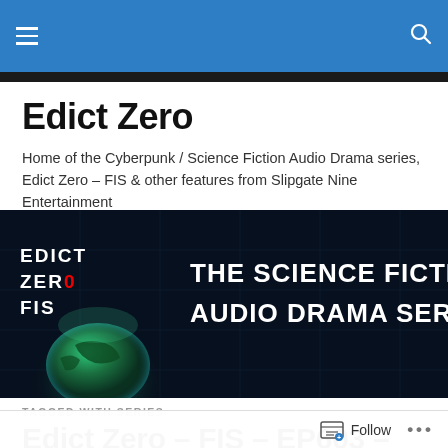Edict Zero [navigation bar with hamburger menu and search icon]
Edict Zero
Home of the Cyberpunk / Science Fiction Audio Drama series, Edict Zero – FIS & other features from Slipgate Nine Entertainment
[Figure (photo): Dark banner image showing 'EDICT ZERO FIS' logo on the left and text 'THE SCIENCE FICTION AUDIO DRAMA SERIES' on the right, with an image of Earth glowing below the logo, on a dark blue/black background with a grid pattern.]
TAGGED WITH SERIES
Edict Zero – FIS – EP603 –
Follow ...